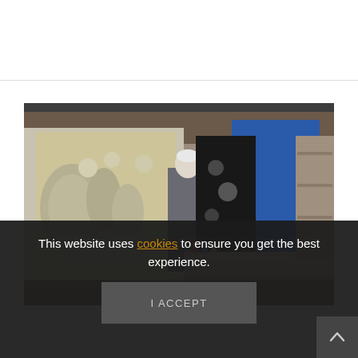LEARN MORE
[Figure (photo): Artist standing in a painting studio, surrounded by large canvases including a grey still-life painting and a blue canvas, with art supplies on tables in the background.]
This website uses cookies to ensure you get the best experience.
I ACCEPT